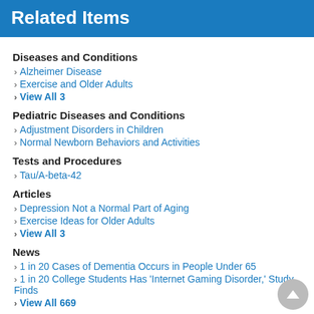Related Items
Diseases and Conditions
Alzheimer Disease
Exercise and Older Adults
View All 3
Pediatric Diseases and Conditions
Adjustment Disorders in Children
Normal Newborn Behaviors and Activities
Tests and Procedures
Tau/A-beta-42
Articles
Depression Not a Normal Part of Aging
Exercise Ideas for Older Adults
View All 3
News
1 in 20 Cases of Dementia Occurs in People Under 65
1 in 20 College Students Has 'Internet Gaming Disorder,' Study Finds
View All 669